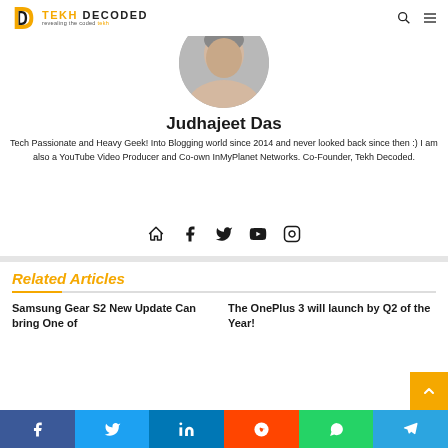[Figure (logo): Tekh Decoded logo with orange D icon and text 'TEKH DECODED - revealing the coded tekh']
[Figure (photo): Circular profile photo of Judhajeet Das]
Judhajeet Das
Tech Passionate and Heavy Geek! Into Blogging world since 2014 and never looked back since then :) I am also a YouTube Video Producer and Co-own InMyPlanet Networks. Co-Founder, Tekh Decoded.
[Figure (infographic): Social media icons: home, facebook, twitter, youtube, instagram]
Related Articles
Samsung Gear S2 New Update Can bring One of
The OnePlus 3 will launch by Q2 of the Year!